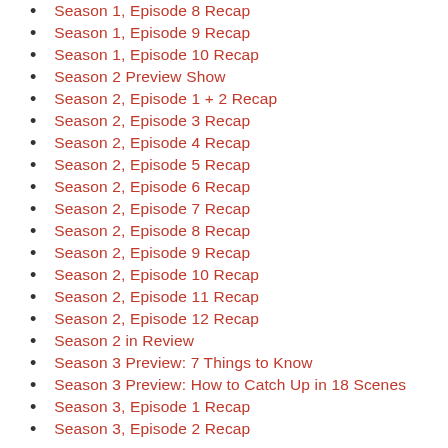Season 1, Episode 8 Recap
Season 1, Episode 9 Recap
Season 1, Episode 10 Recap
Season 2 Preview Show
Season 2, Episode 1 + 2 Recap
Season 2, Episode 3 Recap
Season 2, Episode 4 Recap
Season 2, Episode 5 Recap
Season 2, Episode 6 Recap
Season 2, Episode 7 Recap
Season 2, Episode 8 Recap
Season 2, Episode 9 Recap
Season 2, Episode 10 Recap
Season 2, Episode 11 Recap
Season 2, Episode 12 Recap
Season 2 in Review
Season 3 Preview: 7 Things to Know
Season 3 Preview: How to Catch Up in 18 Scenes
Season 3, Episode 1 Recap
Season 3, Episode 2 Recap